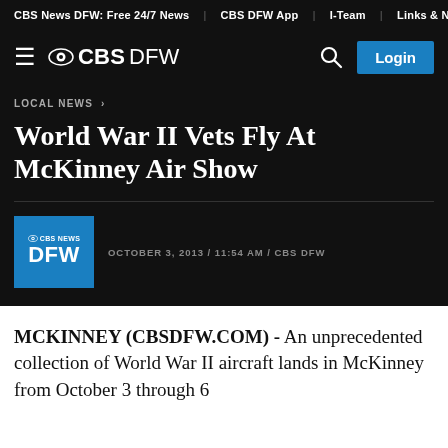CBS News DFW: Free 24/7 News | CBS DFW App | I-Team | Links & N...
≡ ©CBS DFW  🔍 Login
LOCAL NEWS ›
World War II Vets Fly At McKinney Air Show
OCTOBER 3, 2013 / 11:54 AM / CBS DFW
MCKINNEY (CBSDFW.COM) - An unprecedented collection of World War II aircraft lands in McKinney from October 3 through 6...